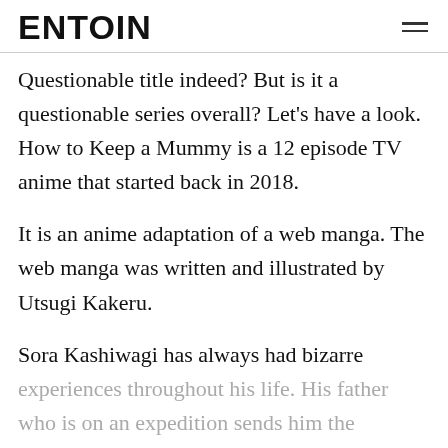ENTOIN
Questionable title indeed? But is it a questionable series overall? Let's have a look. How to Keep a Mummy is a 12 episode TV anime that started back in 2018.
It is an anime adaptation of a web manga. The web manga was written and illustrated by Utsugi Kakeru.
Sora Kashiwagi has always had bizarre experiences throughout his life. His father who is on an expedition sends him the weirdest of